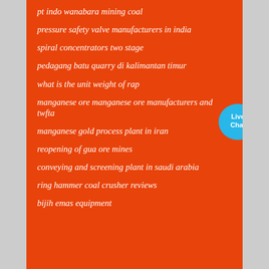pt indo wanabara mining coal
pressure safety valve manufacturers in india
spiral concentrators two stage
pedagang batu quarry di kalimantan timur
what is the unit weight of rap
manganese ore manganese ore manufacturers and twfta
manganese gold process plant in iran
reopening of gua ore mines
conveying and screening plant in saudi arabia
ring hammer coal crusher reviews
bijih emas equipment